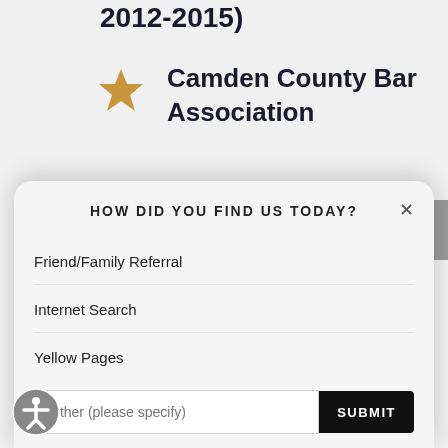2012-2015)
Camden County Bar Association
New Jersey Association for Justice
HOW DID YOU FIND US TODAY?
Friend/Family Referral
Internet Search
Yellow Pages